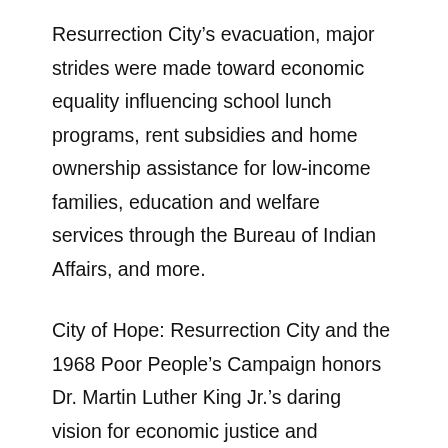Resurrection City's evacuation, major strides were made toward economic equality influencing school lunch programs, rent subsidies and home ownership assistance for low-income families, education and welfare services through the Bureau of Indian Affairs, and more.
City of Hope: Resurrection City and the 1968 Poor People's Campaign honors Dr. Martin Luther King Jr.'s daring vision for economic justice and opportunity for every U.S. citizen. The poster exhibition examines the Poor People's Campaign—a grassroots, multiracial movement that drew thousands of people to Washington, D.C. For 43 days between May and June 1968, demonstrators demanded social reforms while living side-by-side on the